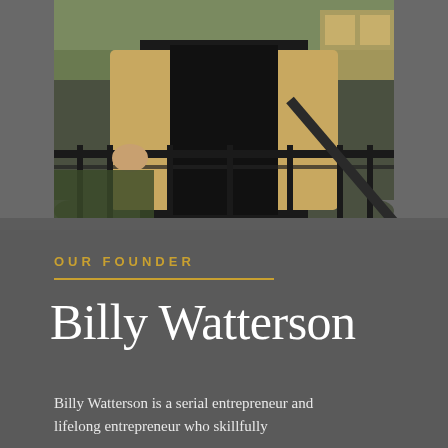[Figure (photo): A man in a beige blazer and black shirt leaning on black iron railings, with greenery and a building in the background.]
OUR FOUNDER
Billy Watterson
Billy Watterson is a serial entrepreneur and lifelong entrepreneur who skillfully...